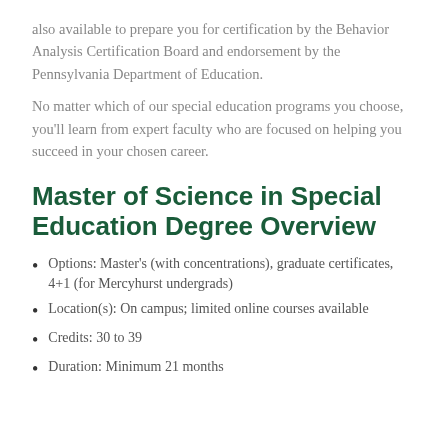also available to prepare you for certification by the Behavior Analysis Certification Board and endorsement by the Pennsylvania Department of Education.
No matter which of our special education programs you choose, you'll learn from expert faculty who are focused on helping you succeed in your chosen career.
Master of Science in Special Education Degree Overview
Options: Master's (with concentrations), graduate certificates, 4+1 (for Mercyhurst undergrads)
Location(s): On campus; limited online courses available
Credits: 30 to 39
Duration: Minimum 21 months